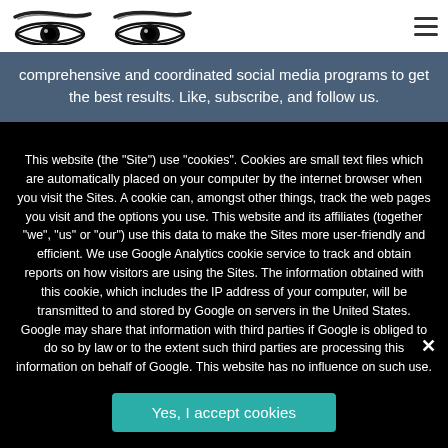[Figure (logo): Two stylized eye logos side by side in black sketch style]
comprehensive and coordinated social media programs to get the best results. Like, subscribe, and follow us.
This website (the "Site") use "cookies". Cookies are small text files which are automatically placed on your computer by the internet browser when you visit the Sites. A cookie can, amongst other things, track the web pages you visit and the options you use. This website and its affiliates (together "we", "us" or "our") use this data to make the Sites more user-friendly and efficient. We use Google Analytics cookie service to track and obtain reports on how visitors are using the Sites. The information obtained with this cookie, which includes the IP address of your computer, will be transmitted to and stored by Google on servers in the United States. Google may share that information with third parties if Google is obliged to do so by law or to the extent such third parties are processing this information on behalf of Google. This website has no influence on such use.
Yes, I accept cookies